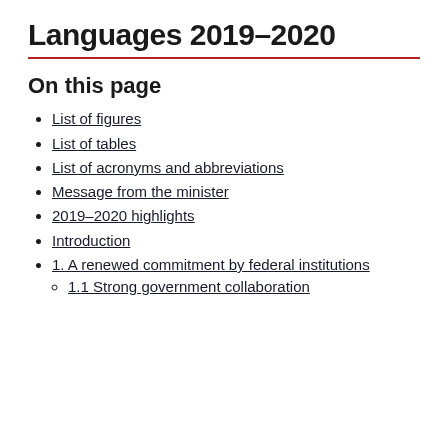Languages 2019–2020
On this page
List of figures
List of tables
List of acronyms and abbreviations
Message from the minister
2019–2020 highlights
Introduction
1. A renewed commitment by federal institutions
1.1 Strong government collaboration